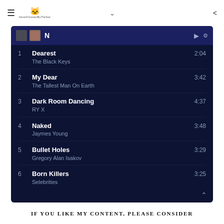≡ NeverFollowedByTheStar ∨ <
[Figure (screenshot): Music playlist screenshot with dark navy background showing 6 tracks: 1. Dearest - The Black Keys 2:04, 2. My Dear - The Tallest Man On Earth 3:42, 3. Dark Room Dancing - RY X 4:37, 4. Naked - Jaymes Young 3:48, 5. Bullet Holes - Gregory Alan Isakov 3:29, 6. Born Killers - Selebrities 3:25]
IF YOU LIKE MY CONTENT, PLEASE CONSIDER